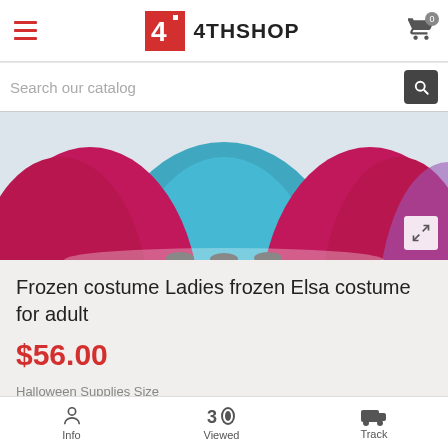4THSHOP
Search our catalog
[Figure (photo): Product photo showing the bottom of Frozen Elsa costumes in teal/blue and magenta/red colors on a white background]
Frozen costume Ladies frozen Elsa costume for adult
$56.00
Halloween Supplies Size
S  M  XXL  XL  L
In stock
Info  Viewed  Track